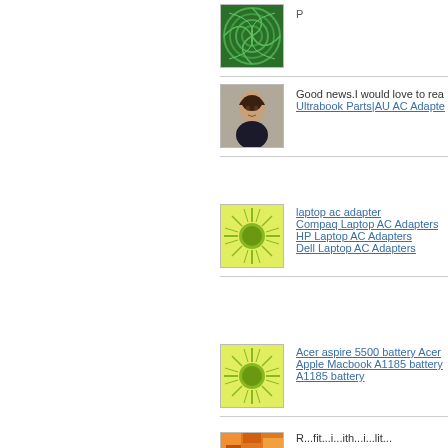[Figure (photo): Green spiral pattern thumbnail image]
P
[Figure (photo): Woman with stylish hair posing thumbnail]
Good news.I would love to rea
Ultrabook Parts|AU AC Adapte
[Figure (illustration): Green sunburst pattern thumbnail]
laptop ac adapter
Compaq Laptop AC Adapters
HP Laptop AC Adapters
Dell Laptop AC Adapters
[Figure (illustration): Green sunburst pattern thumbnail 2]
Acer aspire 5500 battery Acer
Apple Macbook A1185 battery
A1185 battery
[Figure (photo): Orange mosaic pattern thumbnail]
R...fit...i...ith...i...lit...